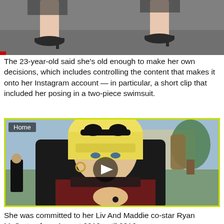[Figure (photo): Close-up photo of lower legs and feet wearing black strappy heeled sandals on pavement, partial view of skirt or dress]
The 23-year-old said she's old enough to make her own decisions, which includes controlling the content that makes it onto her Instagram account — in particular, a short clip that included her posing in a two-piece swimsuit.
[Figure (photo): Video thumbnail showing a young blonde woman with bangs and a black bow headband, wearing a black jacket over a dark red top, posed outdoors near a bronze sculpture. A play button is visible in the center. A 'Home' label appears in the top left corner.]
She was committed to her Liv And Maddie co-star Ryan McCartan from August 2013 until 2016.